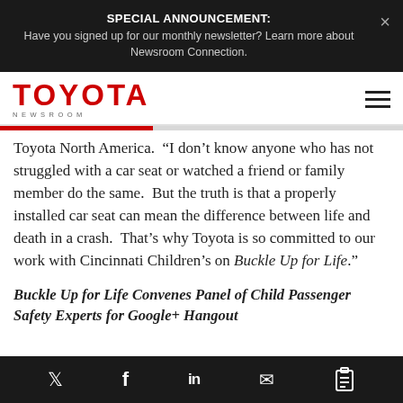SPECIAL ANNOUNCEMENT: Have you signed up for our monthly newsletter? Learn more about Newsroom Connection.
[Figure (logo): Toyota Newsroom logo in red with hamburger menu icon]
Toyota North America. “I don’t know anyone who has not struggled with a car seat or watched a friend or family member do the same. But the truth is that a properly installed car seat can mean the difference between life and death in a crash. That’s why Toyota is so committed to our work with Cincinnati Children’s on Buckle Up for Life.”
Buckle Up for Life Convenes Panel of Child Passenger Safety Experts for Google+ Hangout
Social share icons: Twitter, Facebook, LinkedIn, Email, Link